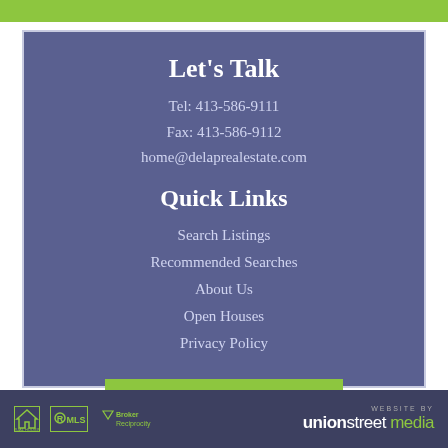Let's Talk
Tel: 413-586-9111
Fax: 413-586-9112
home@delaprealestate.com
Quick Links
Search Listings
Recommended Searches
About Us
Open Houses
Privacy Policy
CONTACT US
WEBSITE BY unionstreet media